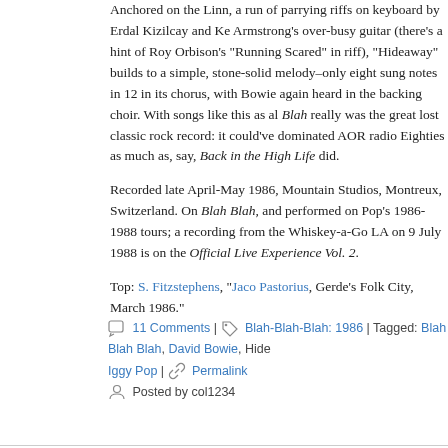Anchored on the Linn, a run of parrying riffs on keyboard by Erdal Kizilcay and K... Armstrong's over-busy guitar (there's a hint of Roy Orbison's "Running Scared" in... riff), "Hideaway" builds to a simple, stone-solid melody–only eight sung notes in 12... in its chorus, with Bowie again heard in the backing choir. With songs like this as al... Blah really was the great lost classic rock record: it could've dominated AOR radio... Eighties as much as, say, Back in the High Life did.
Recorded late April-May 1986, Mountain Studios, Montreux, Switzerland. On Blah... Blah, and performed on Pop's 1986-1988 tours; a recording from the Whiskey-a-Go... LA on 9 July 1988 is on the Official Live Experience Vol. 2.
Top: S. Fitzstephens, "Jaco Pastorius, Gerde's Folk City, March 1986."
11 Comments | Blah-Blah-Blah: 1986 | Tagged: Blah Blah Blah, David Bowie, Hid... Iggy Pop | Permalink
Posted by col1234
Isolation
February 9, 2012
[Figure (photo): Black and white photo of two bearded men standing in front of a brick wall with a peace symbol graffiti]